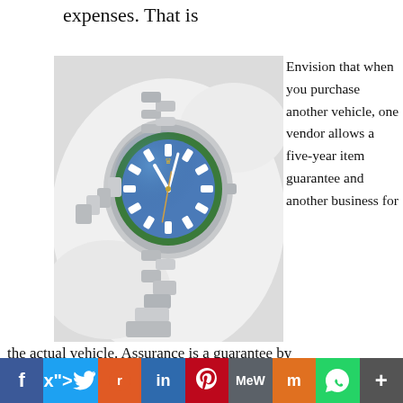expenses. That is
[Figure (photo): A Rolex watch with blue dial and green bezel on a white background, with a silver metal bracelet.]
Envision that when you purchase another vehicle, one vendor allows a five-year item guarantee and another business for
the actual vehicle. Assurance is a guarantee by
[Figure (infographic): Social media sharing bar with icons: Facebook (blue), Twitter (light blue), Reddit (orange), LinkedIn (blue), Pinterest (red), MeWe (gray), Mix (orange), WhatsApp (green), More (dark gray).]